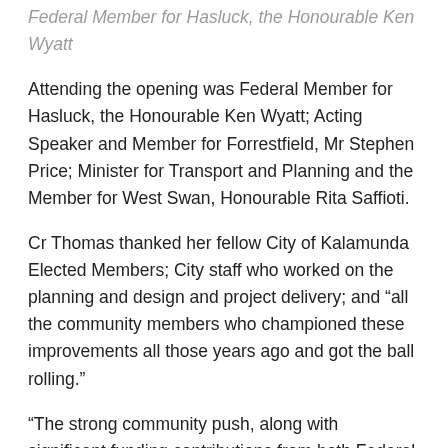Federal Member for Hasluck, the Honourable Ken Wyatt
Attending the opening was Federal Member for Hasluck, the Honourable Ken Wyatt; Acting Speaker and Member for Forrestfield, Mr Stephen Price; Minister for Transport and Planning and the Member for West Swan, Honourable Rita Saffioti.
Cr Thomas thanked her fellow City of Kalamunda Elected Members; City staff who worked on the planning and design and project delivery; and “all the community members who championed these improvements all those years ago and got the ball rolling.”
“The strong community push, along with significant funding contributions from both Federal and State Governments, has resulted in the improvements we now see in front of us.”